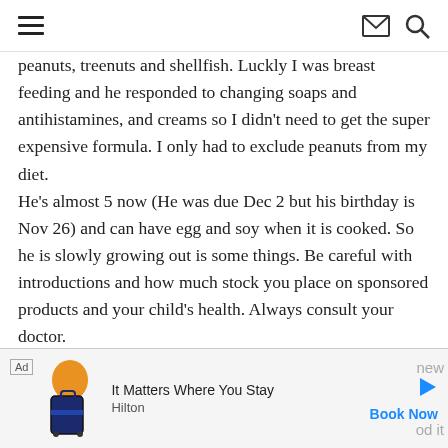hamburger menu | envelope icon | search icon
peanuts, treenuts and shellfish. Luckly I was breast feeding and he responded to changing soaps and antihistamines, and creams so I didn't need to get the super expensive formula. I only had to exclude peanuts from my diet.
He's almost 5 now (He was due Dec 2 but his birthday is Nov 26) and can have egg and soy when it is cooked. So he is slowly growing out is some things. Be careful with introductions and how much stock you place on sponsored products and your child's health. Always consult your doctor.
My daughter (she's older) has no food allergies and I
[Figure (infographic): Ad banner: 'Ad' label, luggage/travel image, 'It Matters Where You Stay', 'Hilton', play button icon, 'Book Now' link, partial text 'new' and 'od it']